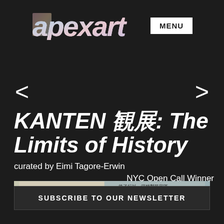[Figure (logo): apexart logo with colorful floral/nature imagery in letters, with MENU button to the right]
[Figure (other): Navigation arrows < and > on left and right sides]
KANTEN 観展: The Limits of History
curated by Eimi Tagore-Erwin
NYC Open Call Winner
[Figure (photo): Small horizontal thumbnail image showing Japanese/Chinese text documents]
SUBSCRIBE TO OUR NEWSLETTER